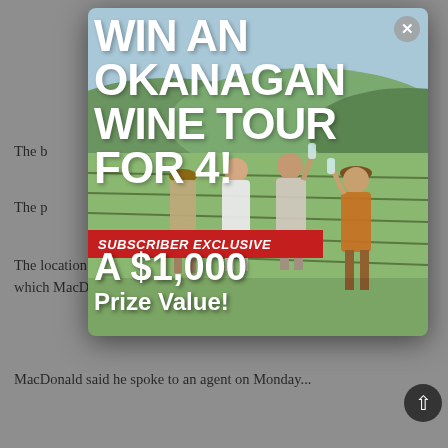The b... and experienced... dangerous...
The p... the incident... couldn't visited...
[Figure (screenshot): Pop-up advertisement overlay showing 'WIN AN OKANAGAN WINE TOUR FOR 4!' with a red banner reading 'SUBSCRIBER EXCLUSIVE' and 'A $1,000 Prize Value!' overlaid on a photo of four people toasting wine glasses in a vineyard. A close button (X) is in the top-right corner.]
The location was just one of several properties the beekeeper rents, which MacDonald said is fairly typical for beekeepers in Abbotsford.
MacDonald said he spoke to an agent on Monday...